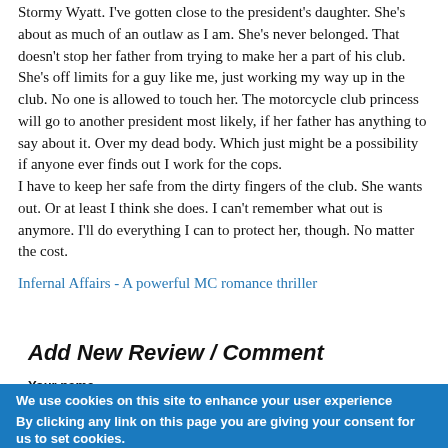Stormy Wyatt. I've gotten close to the president's daughter. She's about as much of an outlaw as I am. She's never belonged. That doesn't stop her father from trying to make her a part of his club. She's off limits for a guy like me, just working my way up in the club. No one is allowed to touch her. The motorcycle club princess will go to another president most likely, if her father has anything to say about it. Over my dead body. Which just might be a possibility if anyone ever finds out I work for the cops.
I have to keep her safe from the dirty fingers of the club. She wants out. Or at least I think she does. I can't remember what out is anymore. I'll do everything I can to protect her, though. No matter the cost.
Infernal Affairs - A powerful MC romance thriller
Add New Review / Comment
Your name
We use cookies on this site to enhance your user experience
By clicking any link on this page you are giving your consent for us to set cookies.